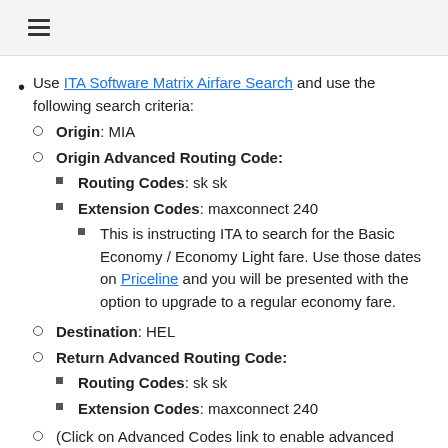≡
Use ITA Software Matrix Airfare Search and use the following search criteria:
Origin: MIA
Origin Advanced Routing Code:
Routing Codes: sk sk
Extension Codes: maxconnect 240
This is instructing ITA to search for the Basic Economy / Economy Light fare. Use those dates on Priceline and you will be presented with the option to upgrade to a regular economy fare.
Destination: HEL
Return Advanced Routing Code:
Routing Codes: sk sk
Extension Codes: maxconnect 240
(Click on Advanced Codes link to enable advanced